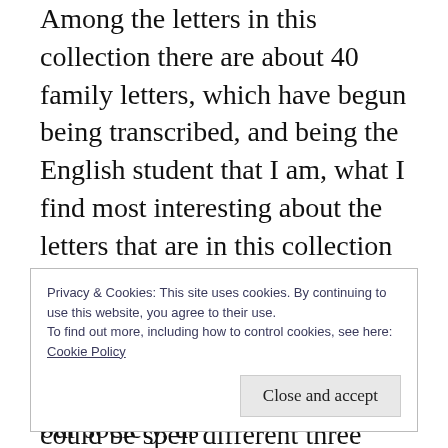Among the letters in this collection there are about 40 family letters, which have begun being transcribed, and being the English student that I am, what I find most interesting about the letters that are in this collection is the lack of uniform punctuation, grammar, and spelling throughout the letters. Within one letter a single word could be spelt different three times, and I really find that fascinating because of how structured language has become in today's world. I feel like the
Privacy & Cookies: This site uses cookies. By continuing to use this website, you agree to their use.
To find out more, including how to control cookies, see here:
Cookie Policy
Close and accept
the evolution of other aspects of our society, as